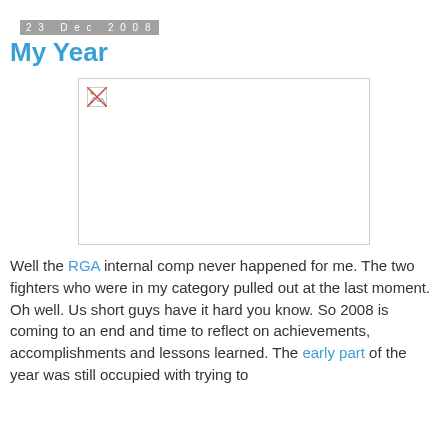23 Dec 2008
My Year
[Figure (photo): Broken image placeholder with border, image failed to load]
Well the RGA internal comp never happened for me. The two fighters who were in my category pulled out at the last moment. Oh well. Us short guys have it hard you know. So 2008 is coming to an end and time to reflect on achievements, accomplishments and lessons learned. The early part of the year was still occupied with trying to